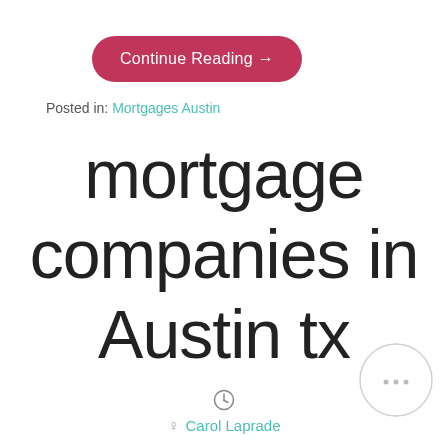Continue Reading →
Posted in: Mortgages Austin
mortgage companies in Austin tx
[Figure (other): Clock icon SVG]
Carol Laprade
Contents Stop mortgage lender Officers listed operate
[Figure (other): Circular spinner/loading indicator]